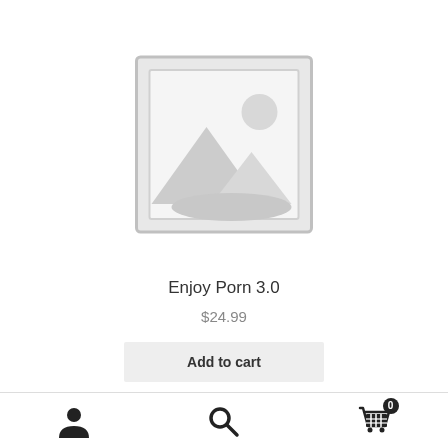[Figure (illustration): Placeholder image icon: a grey square frame with a mountain landscape silhouette and a circle representing the sun, typical WooCommerce/e-commerce placeholder product image.]
Enjoy Porn 3.0
$24.99
Add to cart
[Figure (illustration): Bottom navigation bar with three icons: a user/account icon on the left, a search/magnifying glass icon in the center, and a shopping cart icon with a badge showing 0 on the right.]